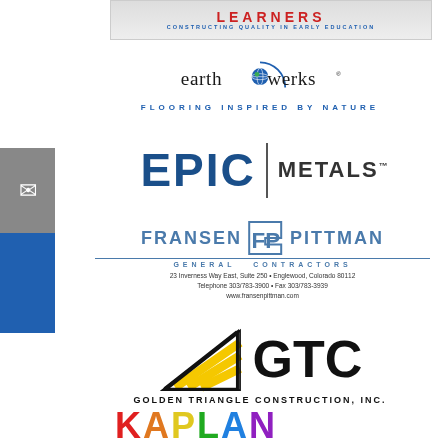[Figure (logo): Learners logo - CONSTRUCTING QUALITY IN EARLY EDUCATION]
[Figure (logo): EarthWerks - FLOORING INSPIRED BY NATURE]
[Figure (logo): EPIC METALS logo with vertical divider]
[Figure (logo): Fransen Pittman General Contractors logo with address: 23 Inverness Way East, Suite 250, Englewood, Colorado 80112, Telephone 303/783-3900, Fax 303/783-3939, www.fransenpittman.com]
[Figure (logo): GTC - Golden Triangle Construction, Inc. logo with yellow triangle and black GTC lettering]
[Figure (logo): KAPLAN multicolor logo]